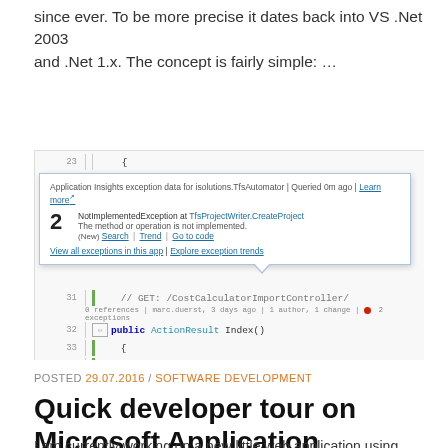since ever. To be more precise it dates back into VS .Net 2003 and .Net 1.x. The concept is fairly simple: …
Continue Reading
[Figure (screenshot): Screenshot of Visual Studio code editor showing C# code with an Application Insights exception popup overlay. The popup displays: 'Application Insights exception data for isolutions.TfsAutomator | Queried 0m ago | Learn more'. It shows 2 NotImplementedException at TfsProjectWriter.CreateProject, 'The method or operation is not implemented.', with links: Search | Trend | Go to code. Footer links: 'View all exceptions in this app | Explore exception trends'. Code lines visible: 23, 31 (// GET: /CostCalculatorImportController/), 32 (public ActionResult Index()), 33 ({), 34 (var model = new CostCalculatorImportModel();), 35 (EnrichCostCalculatorImportModel(model));]
POSTED 29.07.2016 / SOFTWARE DEVELOPMENT
Quick developer tour on Microsoft Application Insights
I am currently working on a new little web application using